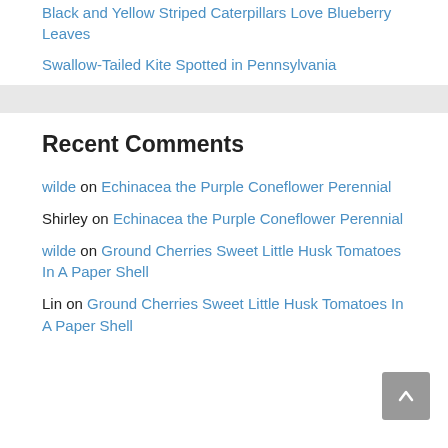Black and Yellow Striped Caterpillars Love Blueberry Leaves
Swallow-Tailed Kite Spotted in Pennsylvania
Recent Comments
wilde on Echinacea the Purple Coneflower Perennial
Shirley on Echinacea the Purple Coneflower Perennial
wilde on Ground Cherries Sweet Little Husk Tomatoes In A Paper Shell
Lin on Ground Cherries Sweet Little Husk Tomatoes In A Paper Shell